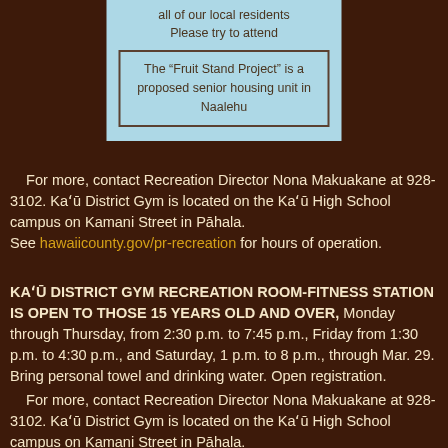all of our local residents
Please try to attend
The “Fruit Stand Project” is a proposed senior housing unit in Naalehu
For more, contact Recreation Director Nona Makuakane at 928-3102. Kaʻu District Gym is located on the Kaʻu High School campus on Kamani Street in Pāhala.
See hawaiicounty.gov/pr-recreation for hours of operation.
KAʻU DISTRICT GYM RECREATION ROOM-FITNESS STATION IS OPEN TO THOSE 15 YEARS OLD AND OVER, Monday through Thursday, from 2:30 p.m. to 7:45 p.m., Friday from 1:30 p.m. to 4:30 p.m., and Saturday, 1 p.m. to 8 p.m., through Mar. 29. Bring personal towel and drinking water. Open registration.
For more, contact Recreation Director Nona Makuakane at 928-3102. Kaʻu District Gym is located on the Kaʻu High School campus on Kamani Street in Pāhala.
See hawaiicounty.gov/pr-recreation for hours of operation.